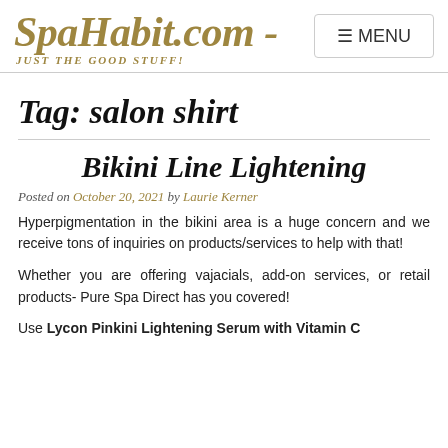SpaHabit.com - JUST THE GOOD STUFF!
Tag: salon shirt
Bikini Line Lightening
Posted on October 20, 2021 by Laurie Kerner
Hyperpigmentation in the bikini area is a huge concern and we receive tons of inquiries on products/services to help with that!
Whether you are offering vajacials, add-on services, or retail products- Pure Spa Direct has you covered!
Use Lycon Pinkini Lightening Serum with Vitamin C